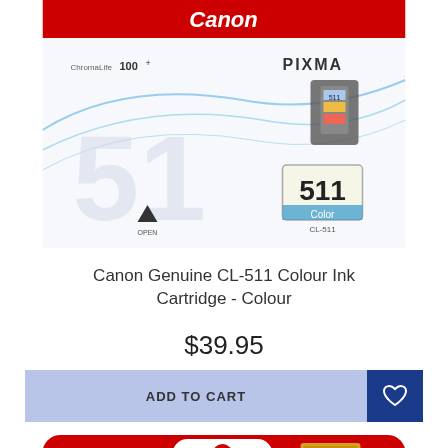[Figure (photo): Canon Genuine CL-511 Colour Ink Cartridge product box photo. White and blue box with Canon logo in red at top, ChromaLife 100+ logo, PIXMA branding, and '511' displayed prominently. Shows a colour ink cartridge image on the box.]
Canon Genuine CL-511 Colour Ink Cartridge - Colour
$39.95
ADD TO CART
[Figure (photo): Bottom portion of a second Canon product shown — red card/package with Canon logo partially visible at bottom of page.]